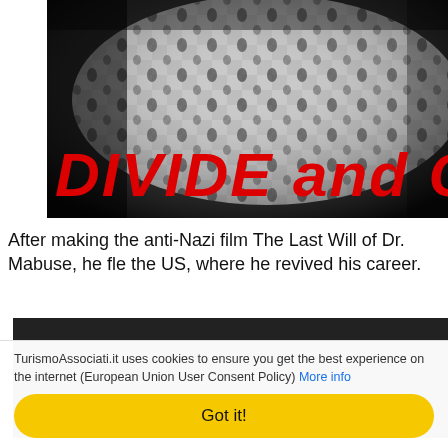[Figure (photo): Black and white photograph of a keffiyeh (traditional Arab headdress) with red bold italic text 'DIVIDE and C' overlaid at the bottom of the image (text continues beyond the frame).]
After making the anti-Nazi film The Last Will of Dr. Mabuse, he fle the US, where he revived his career.
[Figure (photo): Dark/black rectangular area representing a second image, partially visible.]
TurismoAssociati.it uses cookies to ensure you get the best experience on the internet (European Union User Consent Policy) More info
Got it!